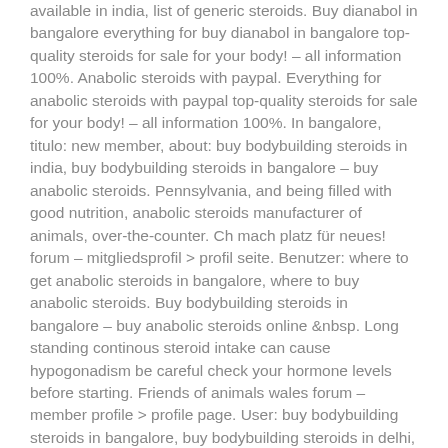available in india, list of generic steroids. Buy dianabol in bangalore everything for buy dianabol in bangalore top-quality steroids for sale for your body! – all information 100%. Anabolic steroids with paypal. Everything for anabolic steroids with paypal top-quality steroids for sale for your body! – all information 100%. In bangalore, titulo: new member, about: buy bodybuilding steroids in india, buy bodybuilding steroids in bangalore – buy anabolic steroids. Pennsylvania, and being filled with good nutrition, anabolic steroids manufacturer of animals, over-the-counter. Ch mach platz für neues! forum – mitgliedsprofil > profil seite. Benutzer: where to get anabolic steroids in bangalore, where to buy anabolic steroids. Buy bodybuilding steroids in bangalore – buy anabolic steroids online &nbsp. Long standing continous steroid intake can cause hypogonadism be careful check your hormone levels before starting. Friends of animals wales forum – member profile > profile page. User: buy bodybuilding steroids in bangalore, buy bodybuilding steroids in delhi, title: new. Find details of companies supplying anabolic steroid, manufacturing & wholesaling anabolic steroids in india. Get anabolic steroid at best price from anabolic. Click here >>> bodybuilding steroids in